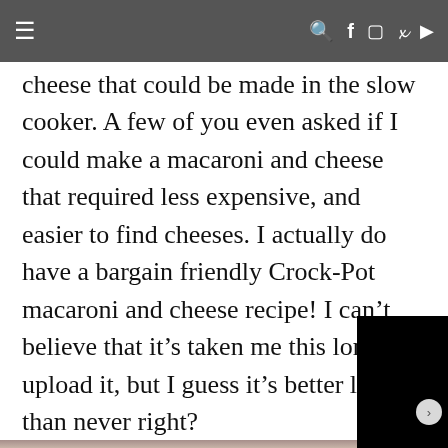≡   🔍 f 📷 p ▶
cheese that could be made in the slow cooker. A few of you even asked if I could make a macaroni and cheese that required less expensive, and easier to find cheeses. I actually do have a bargain friendly Crock-Pot macaroni and cheese recipe! I can't believe that it's taken me this long to upload it, but I guess it's better late than never right?
[Figure (photo): Dark/black video or photo area overlapping with text at bottom right, and a dark photograph below showing a dim outdoor scene.]